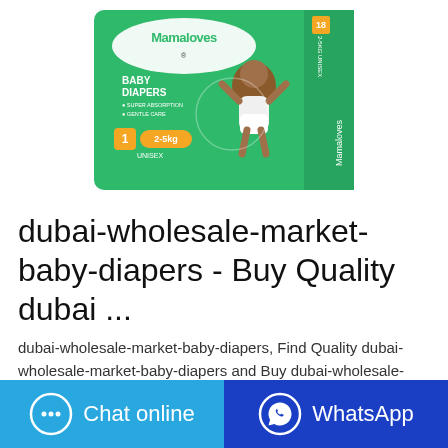[Figure (photo): Mamaloves Baby Diapers package, green box, size 1, 2-5kg, Unisex, 18 pieces]
dubai-wholesale-market-baby-diapers - Buy Quality dubai ...
dubai-wholesale-market-baby-diapers, Find Quality dubai-wholesale-market-baby-diapers and Buy dubai-wholesale-market-baby-diapers from Reliable Global dubai-wholesale-market-baby-diapers Suppliers from mobile site on m.alibaba
Chat online
WhatsApp